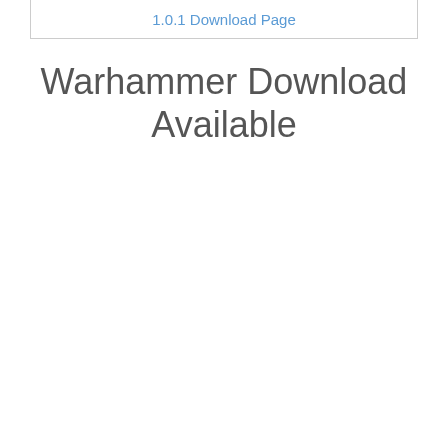1.0.1 Download Page
Warhammer Download Available